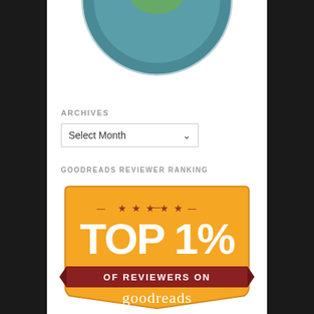[Figure (logo): Partial circular badge/seal with teal/green colors showing 'Professional' text curved along the bottom arc, cut off at top]
ARCHIVES
[Figure (screenshot): Select Month dropdown UI element]
GOODREADS REVIEWER RANKING
[Figure (infographic): Goodreads Top 1% of Reviewers badge — orange shield shape with gold stars, large white text 'TOP 1%', dark red ribbon banner reading 'OF REVIEWERS ON', and 'goodreads' in white script at bottom]